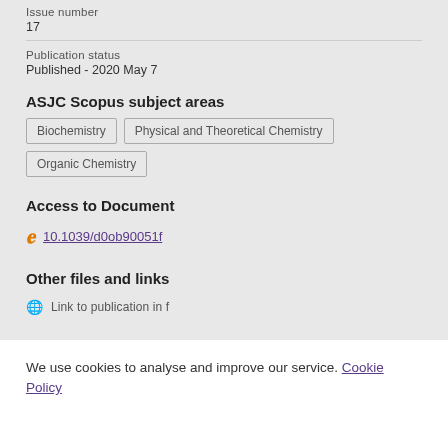Issue number
17
Publication status
Published - 2020 May 7
ASJC Scopus subject areas
Biochemistry
Physical and Theoretical Chemistry
Organic Chemistry
Access to Document
10.1039/d0ob90051f
Other files and links
We use cookies to analyse and improve our service. Cookie Policy